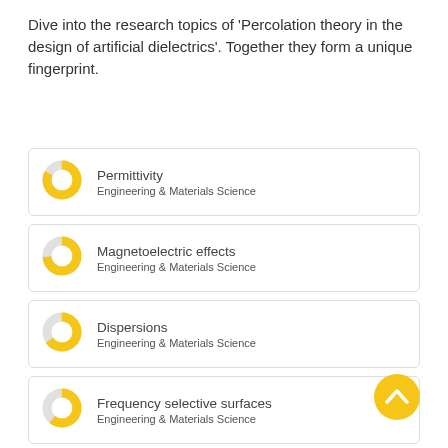Dive into the research topics of 'Percolation theory in the design of artificial dielectrics'. Together they form a unique fingerprint.
Permittivity — Engineering & Materials Science
Magnetoelectric effects — Engineering & Materials Science
Dispersions — Engineering & Materials Science
Frequency selective surfaces — Engineering & Materials Science
Geometry — Engineering & Materials Science
Stochastic models (partial)